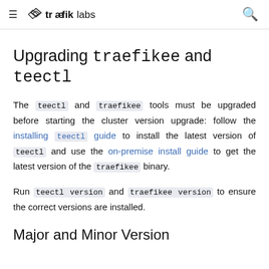≡ træfiklabs [search icon]
Upgrading traefikee and teectl
The teectl and traefikee tools must be upgraded before starting the cluster version upgrade: follow the installing teectl guide to install the latest version of teectl and use the on-premise install guide to get the latest version of the traefikee binary.
Run teectl version and traefikee version to ensure the correct versions are installed.
Major and Minor Version